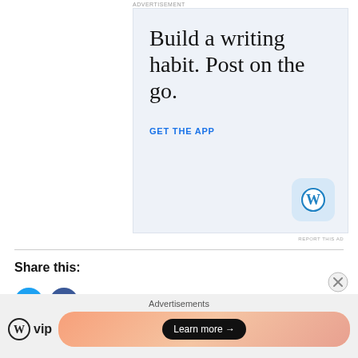ADVERTISEMENT
[Figure (illustration): WordPress app advertisement with light blue-grey background. Large serif text reading 'Build a writing habit. Post on the go.' with a blue 'GET THE APP' call-to-action link and WordPress app icon (blue W logo on light blue rounded square background) in bottom-right corner.]
REPORT THIS AD
Share this:
[Figure (illustration): Two social sharing icon buttons: Twitter (blue circle with white bird icon) and Facebook (blue circle with white f icon).]
Advertisements
[Figure (logo): WordPress VIP logo (WordPress W icon followed by 'vip' text) and a 'Learn more →' button on a gradient orange/pink background banner advertisement.]